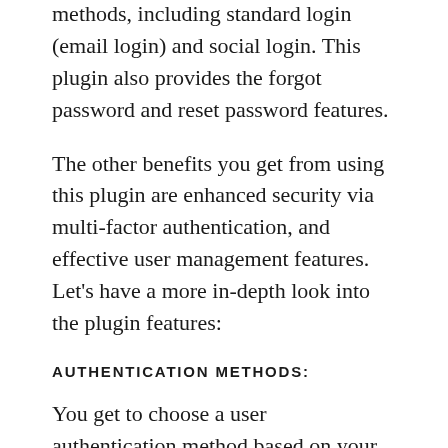methods, including standard login (email login) and social login. This plugin also provides the forgot password and reset password features.
The other benefits you get from using this plugin are enhanced security via multi-factor authentication, and effective user management features. Let's have a more in-depth look into the plugin features:
AUTHENTICATION METHODS:
You get to choose a user authentication method based on your target audience and use cases.
Standard login (email login): You can customize the registration fields based on your business nature, where email id and password remain the default fields. Once registered, the consumers can log in to their account using the email id and